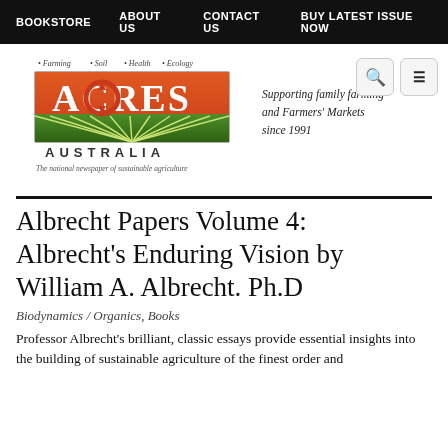BOOKSTORE   ABOUT US   CONTACT US   BUY LATEST ISSUE NOW
[Figure (logo): Acres Australia logo — red and green graphic with 'ACRES AUSTRALIA' text and tagline 'The national newspaper of sustainable agriculture', plus 'Supporting family farming and Farmers' Markets since 1991']
Albrecht Papers Volume 4: Albrecht's Enduring Vision by William A. Albrecht. Ph.D
Biodynamics / Organics, Books
Professor Albrecht's brilliant, classic essays provide essential insights into the building of sustainable agriculture of the finest order and